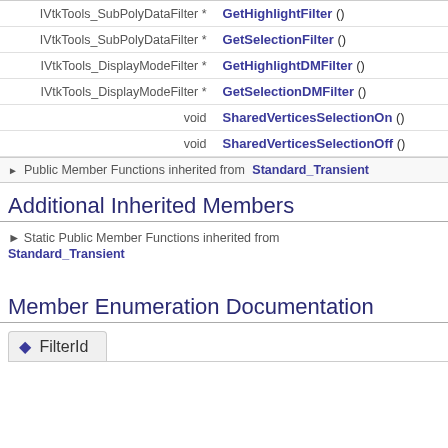| type | function |
| --- | --- |
| IVtkTools_SubPolyDataFilter * | GetHighlightFilter () |
| IVtkTools_SubPolyDataFilter * | GetSelectionFilter () |
| IVtkTools_DisplayModeFilter * | GetHighlightDMFilter () |
| IVtkTools_DisplayModeFilter * | GetSelectionDMFilter () |
| void | SharedVerticesSelectionOn () |
| void | SharedVerticesSelectionOff () |
► Public Member Functions inherited from Standard_Transient
Additional Inherited Members
► Static Public Member Functions inherited from Standard_Transient
Member Enumeration Documentation
◆ FilterId